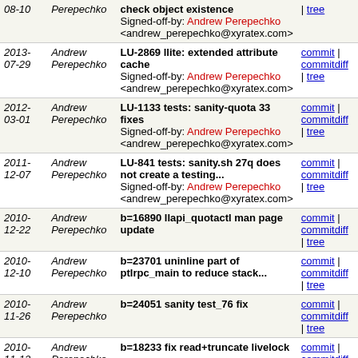| Date | Author | Message | Links |
| --- | --- | --- | --- |
| 08-10 | Perepechko | check object existence
Signed-off-by: Andrew Perepechko <andrew_perepechko@xyratex.com> | commit | commitdiff | tree |
| 2013-07-29 | Andrew Perepechko | LU-2869 llite: extended attribute cache
Signed-off-by: Andrew Perepechko <andrew_perepechko@xyratex.com> | commit | commitdiff | tree |
| 2012-03-01 | Andrew Perepechko | LU-1133 tests: sanity-quota 33 fixes
Signed-off-by: Andrew Perepechko <andrew_perepechko@xyratex.com> | commit | commitdiff | tree |
| 2011-12-07 | Andrew Perepechko | LU-841 tests: sanity.sh 27q does not create a testing...
Signed-off-by: Andrew Perepechko <andrew_perepechko@xyratex.com> | commit | commitdiff | tree |
| 2010-12-22 | Andrew Perepechko | b=16890 llapi_quotactl man page update | commit | commitdiff | tree |
| 2010-12-10 | Andrew Perepechko | b=23701 uninline part of ptlrpc_main to reduce stack... | commit | commitdiff | tree |
| 2010-11-26 | Andrew Perepechko | b=24051 sanity test_76 fix | commit | commitdiff | tree |
| 2010-11-12 | Andrew Perepechko | b=18233 fix read+truncate livelock | commit | commitdiff | tree |
| 2010-10-22 | Andrew Perepechko | b=22386 disallow wrong conf_param options | commit | commitdiff | tree |
| 2010-10-18 | Andrew Perepechko | b=20533 set the default max_sectors to the raid5/6... | commit | commitdiff | tree |
| 2010-10-14 | Andrew Perepechko | b=23818 sanity_quota test_32 fix | commit | commitdiff | tree |